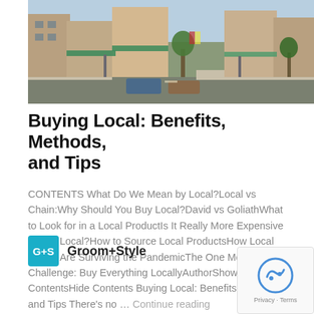[Figure (photo): Street scene of a small town main street with shops, awnings, parked cars, trees, and brick buildings]
Buying Local: Benefits, Methods, and Tips
CONTENTS What Do We Mean by Local?Local vs Chain:Why Should You Buy Local?David vs GoliathWhat to Look for in a Local ProductIs It Really More Expensive to Buy Local?How to Source Local ProductsHow Local Stores Are Surviving the PandemicThe One Month Challenge: Buy Everything LocallyAuthorShow ContentsHide Contents Buying Local: Benefits, Methods, and Tips There's no … Continue reading
Groom+Style